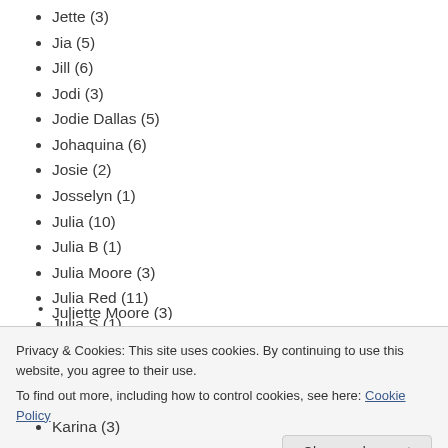Jette (3)
Jia (5)
Jill (6)
Jodi (3)
Jodie Dallas (5)
Johaquina (6)
Josie (2)
Josselyn (1)
Julia (10)
Julia B (1)
Julia Moore (3)
Julia Red (11)
Julia S (1)
Julie (3)
Privacy & Cookies: This site uses cookies. By continuing to use this website, you agree to their use. To find out more, including how to control cookies, see here: Cookie Policy
Karina (3)